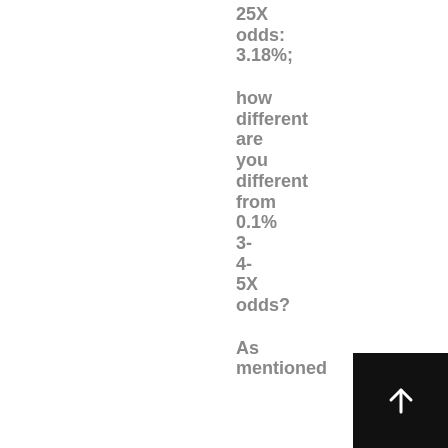25X odds: 3.18%;
how different are you different from 0.1% 3- 4- 5X odds?
As mentioned